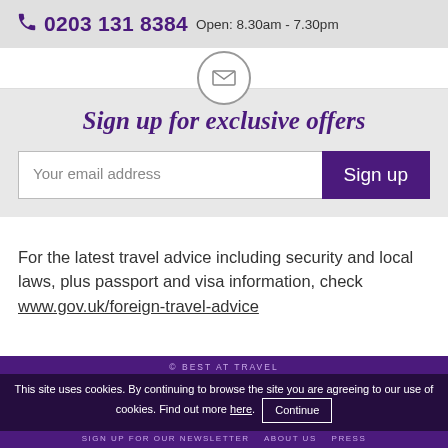0203 131 8384  Open: 8.30am - 7.30pm
[Figure (illustration): Partial email icon circle at top of page]
Sign up for exclusive offers
Your email address  Sign up
For the latest travel advice including security and local laws, plus passport and visa information, check www.gov.uk/foreign-travel-advice
© BEST AT TRAVEL  This site uses cookies. By continuing to browse the site you are agreeing to our use of cookies. Find out more here.  Continue